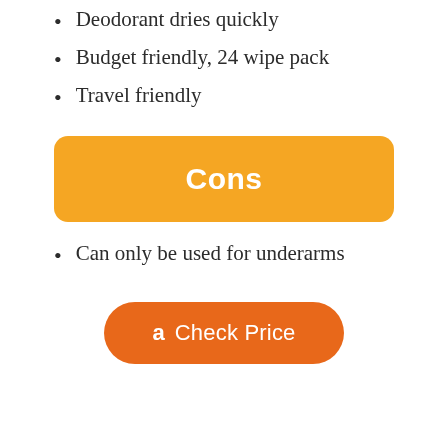Deodorant dries quickly
Budget friendly, 24 wipe pack
Travel friendly
Cons
Can only be used for underarms
Check Price